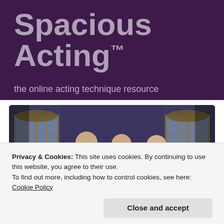Spacious Acting™
the online acting technique resource
[Figure (photo): Three actors on a period stage set with tall windows and blue lighting. One actor in a blue military uniform faces two others in period costume.]
Privacy & Cookies: This site uses cookies. By continuing to use this website, you agree to their use.
To find out more, including how to control cookies, see here: Cookie Policy
Close and accept